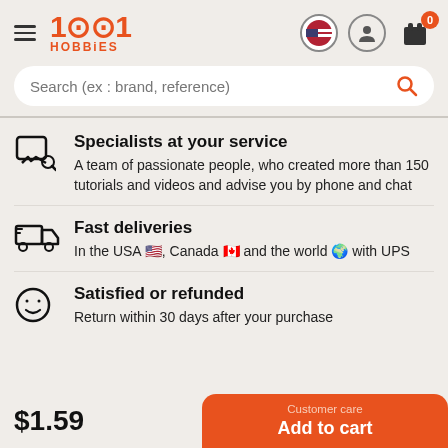1001 HOBBIES
Search (ex : brand, reference)
Specialists at your service
A team of passionate people, who created more than 150 tutorials and videos and advise you by phone and chat
Fast deliveries
In the USA 🇺🇸, Canada 🇨🇦 and the world 🌍 with UPS
Satisfied or refunded
Return within 30 days after your purchase
$1.59
Customer care
Add to cart